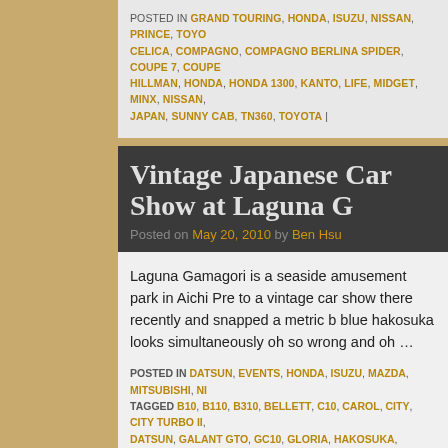POSTED IN GRAND TOURING, HONDA, ISUZU, NISSAN, PRINCE, TOYOTA CELICA, COMPAGNO, COMPAGNO BERLINA SPIDER, COUPE 7, COUPE, HILLMAN, HONDA, HONDA 1300, KANTO, LIFE, MIDGET, MINX, NISSAN, JAPAN, SUNNY CAB, TN360, TOYOTA |
Vintage Japanese Car Show at Laguna G
Posted on May 20, 2010 by Ben Hsu
Laguna Gamagori is a seaside amusement park in Aichi Pre to a vintage car show there recently and snapped a metric b blue hakosuka looks simultaneously oh so wrong and oh …
POSTED IN DATSUN, EVENTS, HONDA, ISUZU, MAZDA, MITSUBISHI, NI TAGGED B10, B110, B310, BELLETT, C10, CAROL, CITY, CITY TURBO II, DATSUN, GALANT GTO, GC10, GLORIA, HAKOSUKA, HONDA, ISUZU, KO MAZDA, MITSUBISHI, NISSAN, PGC10, SKYLINE, SPORTS 800, SUNNY,
Saitama Air-Cooled Yard
Posted on April 13, 2010 by Skorj
Students of automotive design and history advise us that the car was dictated by a number of changing fashions and requ requirements ensured two-strokes, with their oil-burning lubr
Continue reading →